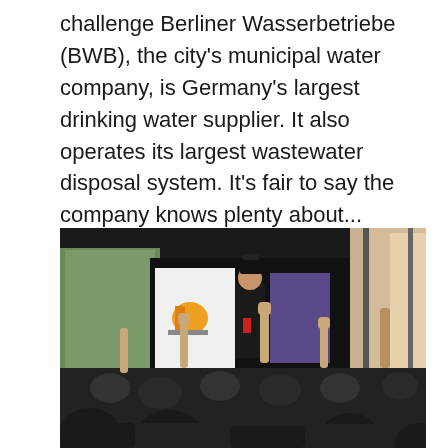challenge Berliner Wasserbetriebe (BWB), the city's municipal water company, is Germany's largest drinking water supplier. It also operates its largest wastewater disposal system. It's fair to say the company knows plenty about...
[Figure (photo): A conference or event scene showing an audience with raised hands in the foreground and a presenter standing at a podium in the background. The room has large windows letting in natural light on the right side. Banners and display boards are visible behind the presenter.]